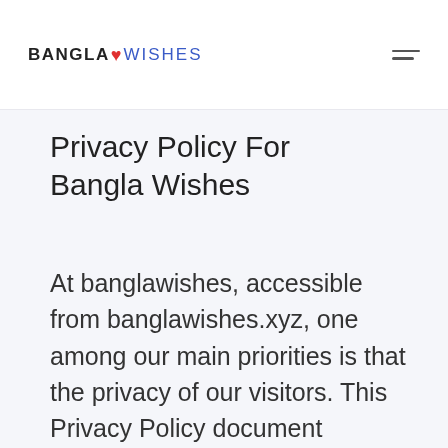BANGLA♥WISHES
Privacy Policy For Bangla Wishes
At banglawishes, accessible from banglawishes.xyz, one among our main priorities is that the privacy of our visitors. This Privacy Policy document contains sorts of information that are collected and